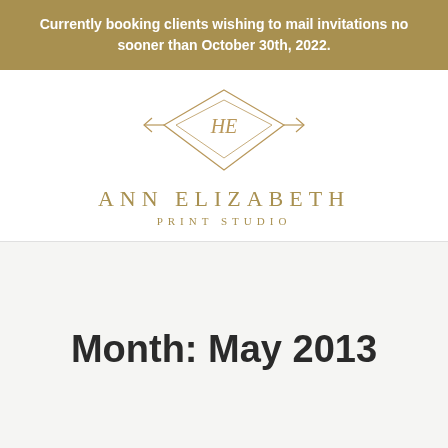Currently booking clients wishing to mail invitations no sooner than October 30th, 2022.
[Figure (logo): Ann Elizabeth Print Studio logo with diamond/geometric line art emblem and brand name in gold serif text]
Month: May 2013